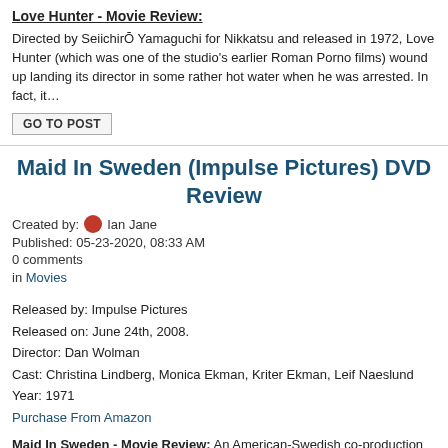Love Hunter - Movie Review:
Directed by SeiichirŌ Yamaguchi for Nikkatsu and released in 1972, Love Hunter (which was one of the studio's earlier Roman Porno films) wound up landing its director in some rather hot water when he was arrested. In fact, it…
GO TO POST
Maid In Sweden (Impulse Pictures) DVD Review
Created by: Ian Jane
Published: 05-23-2020, 08:33 AM
0 comments
in Movies
Released by: Impulse Pictures
Released on: June 24th, 2008.
Director: Dan Wolman
Cast: Christina Lindberg, Monica Ekman, Kriter Ekman, Leif Naeslund
Year: 1971
Purchase From Amazon
Maid In Sweden - Movie Review: An American-Swedish co-production bankrolled by none other than Cannon Films, Maid In Sweden has been at the top of many a Lindberg fan's wish list for some time now. While the film follows a formula almost to a fault, it features…